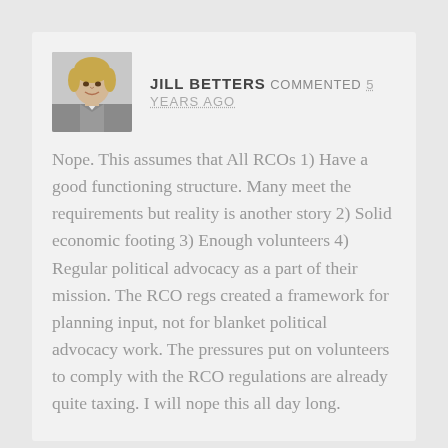[Figure (photo): Profile photo of Jill Betters, a woman with blonde hair wearing a grey jacket]
JILL BETTERS COMMENTED 5 YEARS AGO
Nope. This assumes that All RCOs 1) Have a good functioning structure. Many meet the requirements but reality is another story 2) Solid economic footing 3) Enough volunteers 4) Regular political advocacy as a part of their mission. The RCO regs created a framework for planning input, not for blanket political advocacy work. The pressures put on volunteers to comply with the RCO regulations are already quite taxing. I will nope this all day long.